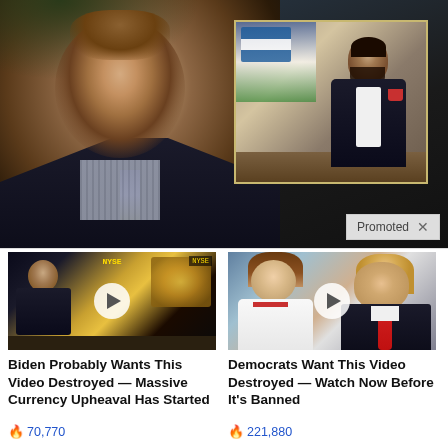[Figure (photo): TV news anchor on left with dark background, inset video top-right showing man in suit with El Salvador flag, 'Promoted' badge bottom-right]
Promoted X
[Figure (photo): Video thumbnail of man in TV studio with play button overlay, NYSE ticker visible]
Biden Probably Wants This Video Destroyed — Massive Currency Upheaval Has Started
70,770
[Figure (photo): Video thumbnail of couple (woman and man with red tie) with play button overlay]
Democrats Want This Video Destroyed — Watch Now Before It's Banned
221,880